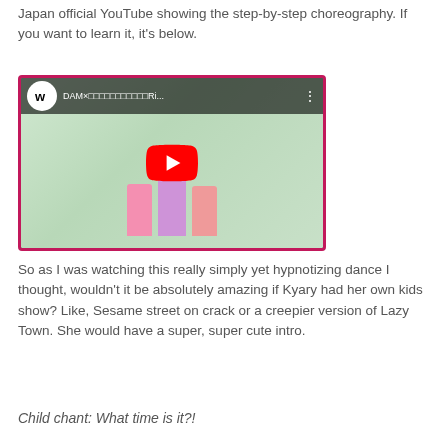Japan official YouTube showing the step-by-step choreography. If you want to learn it, it's below.
[Figure (screenshot): Embedded YouTube video showing a music video titled 'DAM×…Ri...' with Warner Music Japan logo and dancers in colorful outfits on stage with a pink border frame]
So as I was watching this really simply yet hypnotizing dance I thought, wouldn't it be absolutely amazing if Kyary had her own kids show? Like, Sesame street on crack or a creepier version of Lazy Town. She would have a super, super cute intro.
Child chant: What time is it?!